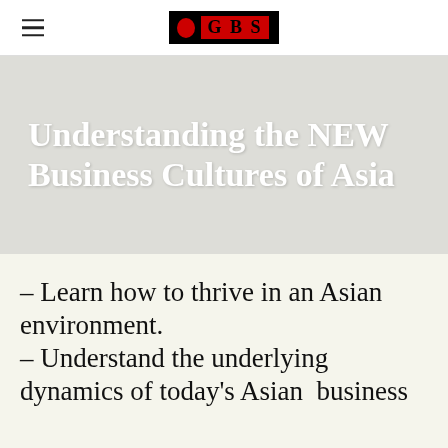GBS
Understanding the NEW Business Cultures of Asia
– Learn how to thrive in an Asian environment.
– Understand the underlying dynamics of today's Asian  business